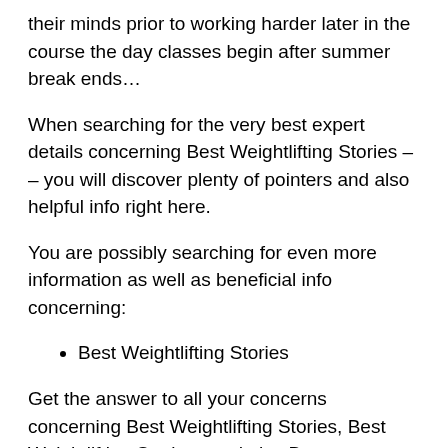their minds prior to working harder later in the course the day classes begin after summer break ends…
When searching for the very best expert details concerning Best Weightlifting Stories – – you will discover plenty of pointers and also helpful info right here.
You are possibly searching for even more information as well as beneficial info concerning:
Best Weightlifting Stories
Get the answer to all your concerns concerning Best Weightlifting Stories, Best Weightlifting Stories , and also Best Weightlifting Stories …